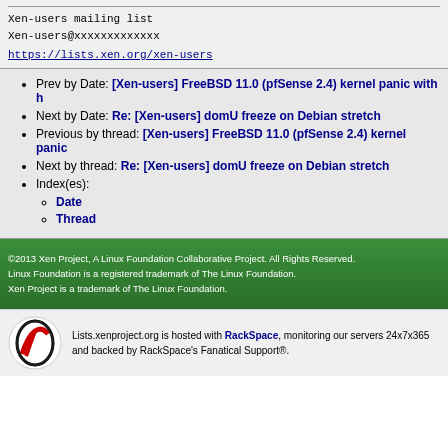Xen-users mailing list
Xen-users@xxxxxxxxxxxxx
https://lists.xen.org/xen-users
Prev by Date: [Xen-users] FreeBSD 11.0 (pfSense 2.4) kernel panic with h
Next by Date: Re: [Xen-users] domU freeze on Debian stretch
Previous by thread: [Xen-users] FreeBSD 11.0 (pfSense 2.4) kernel panic
Next by thread: Re: [Xen-users] domU freeze on Debian stretch
Index(es): Date, Thread
©2013 Xen Project, A Linux Foundation Collaborative Project. All Rights Reserved. Linux Foundation is a registered trademark of The Linux Foundation. Xen Project is a trademark of The Linux Foundation.
Lists.xenproject.org is hosted with RackSpace, monitoring our servers 24x7x365 and backed by RackSpace's Fanatical Support®.